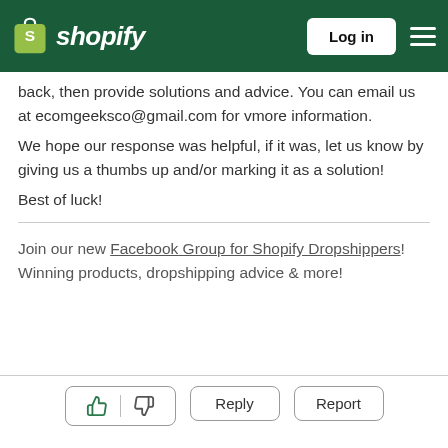shopify — Log in
back, then provide solutions and advice. You can email us at ecomgeeksco@gmail.com for vmore information.
We hope our response was helpful, if it was, let us know by giving us a thumbs up and/or marking it as a solution!
Best of luck!
Join our new Facebook Group for Shopify Dropshippers! Winning products, dropshipping advice & more!